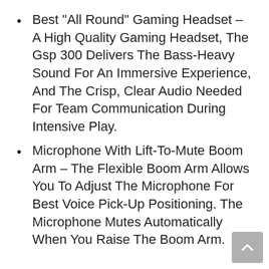Best "All Round" Gaming Headset – A High Quality Gaming Headset, The Gsp 300 Delivers The Bass-Heavy Sound For An Immersive Experience, And The Crisp, Clear Audio Needed For Team Communication During Intensive Play.
Microphone With Lift-To-Mute Boom Arm – The Flexible Boom Arm Allows You To Adjust The Microphone For Best Voice Pick-Up Positioning. The Microphone Mutes Automatically When You Raise The Boom Arm.